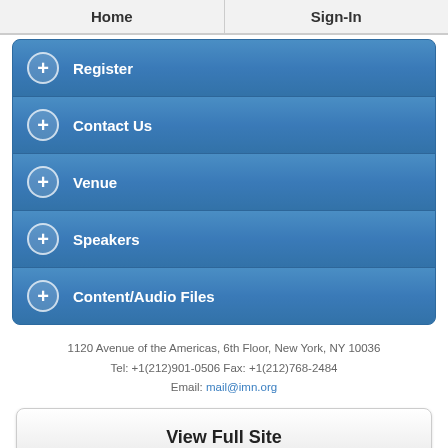Home | Sign-In
Register
Contact Us
Venue
Speakers
Content/Audio Files
1120 Avenue of the Americas, 6th Floor, New York, NY 10036
Tel: +1(212)901-0506 Fax: +1(212)768-2484
Email: mail@imn.org
View Full Site